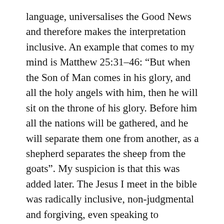language, universalises the Good News and therefore makes the interpretation inclusive. An example that comes to my mind is Matthew 25:31–46: “But when the Son of Man comes in his glory, and all the holy angels with him, then he will sit on the throne of his glory. Before him all the nations will be gathered, and he will separate them one from another, as a shepherd separates the sheep from the goats”. My suspicion is that this was added later. The Jesus I meet in the bible was radically inclusive, non-judgmental and forgiving, even speaking to Samaritans, prostitutes, Roman soldiers, women and people who keep asking questions! So, for me, this passage was written by a first Century traditionalist.